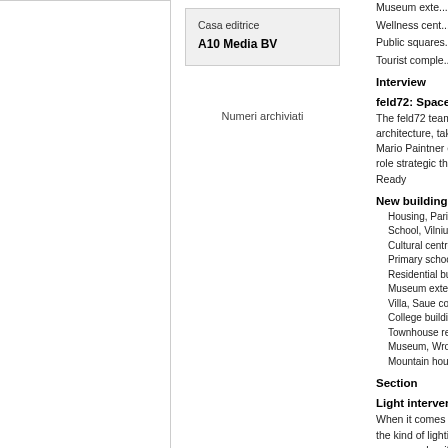| Casa editrice |  |
| --- | --- |
| A10 Media BV |  |
Numeri archiviati
Museum exte...
Wellness cent...
Public squares...
Tourist comple...
Interview
feld72: Space fo...
The feld72 team architecture, taki... Mario Paintner e... role strategic thin... Ready
New buildings
Housing, Paris...
School, Vilnius...
Cultural centre...
Primary schoo...
Residential bu...
Museum exter...
Villa, Saue co...
College buildin...
Townhouse re...
Museum, Wro...
Mountain hous...
Section
Light interventi...
When it comes t... the kind of lighti... corresponds with... are many projec... Eurovision
Focusing on Eu...